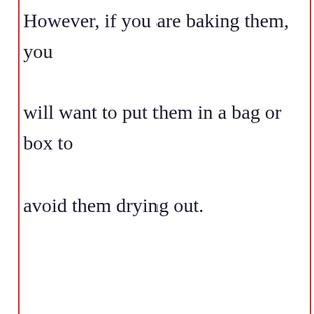However, if you are baking them, you will want to put them in a bag or box to avoid them drying out.
[Figure (screenshot): UI overlay: blue heart/like button (circle), share button (circle with share icon), 'What's Next' panel with thumbnail and text 'Can you get sick from...', bottom dark navigation bar with ad for 'Sterling OPEN 10AM-9PM 45210 Towlern Place, Sterling' with CM logo and navigation arrow]